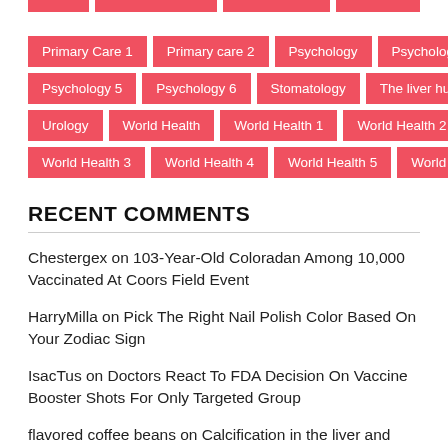Primary Care 1
Primary care 2
Psychology
Psychology 4
Psychology 5
Psychology 6
Stomatology
The liver hurts
Urology
World Health
World Health 1
World Health 2
World Health 3
World Health 4
World Health 5
World Health 6
RECENT COMMENTS
Chestergex on 103-Year-Old Coloradan Among 10,000 Vaccinated At Coors Field Event
HarryMilla on Pick The Right Nail Polish Color Based On Your Zodiac Sign
IsacTus on Doctors React To FDA Decision On Vaccine Booster Shots For Only Targeted Group
flavored coffee beans on Calcification in the liver and